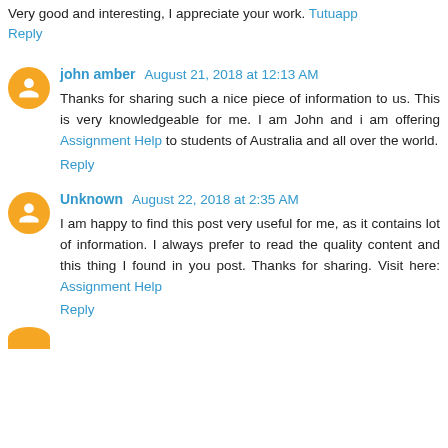Very good and interesting, I appreciate your work. Tutuapp
Reply
john amber August 21, 2018 at 12:13 AM
Thanks for sharing such a nice piece of information to us. This is very knowledgeable for me. I am John and i am offering Assignment Help to students of Australia and all over the world.
Reply
Unknown August 22, 2018 at 2:35 AM
I am happy to find this post very useful for me, as it contains lot of information. I always prefer to read the quality content and this thing I found in you post. Thanks for sharing. Visit here: Assignment Help
Reply